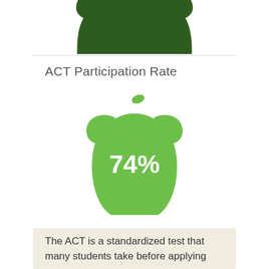[Figure (illustration): Bottom portion of a dark green apple icon, partially visible above a dotted divider line]
ACT Participation Rate
[Figure (infographic): Light green apple icon with '74%' text inside, representing ACT participation rate]
The ACT is a standardized test that many students take before applying